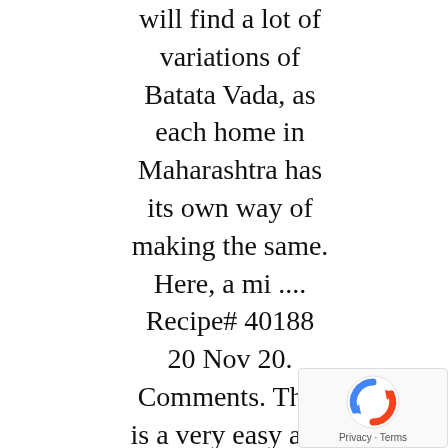will find a lot of variations of Batata Vada, as each home in Maharashtra has its own way of making the same. Here, a mi .... Recipe# 40188 20 Nov 20. Comments. This is a very easy and simple recipe. "I visit this blog very frequently. BTW tuza
[Figure (other): reCAPTCHA widget with Google logo and Privacy - Terms text]